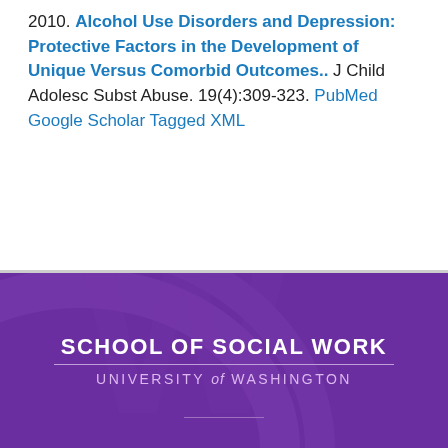2010. Alcohol Use Disorders and Depression: Protective Factors in the Development of Unique Versus Comorbid Outcomes.. J Child Adolesc Subst Abuse. 19(4):309-323. PubMed  Google Scholar  Tagged  XML
[Figure (logo): School of Social Work, University of Washington logo on purple background with decorative arc and W watermark]